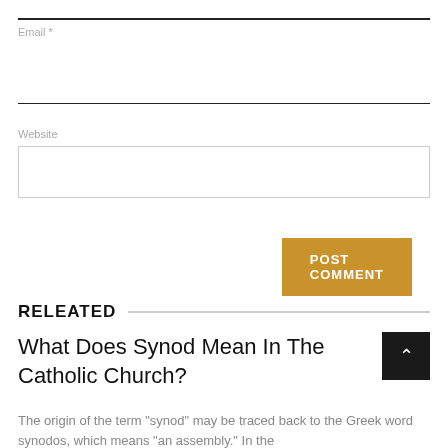Email *
Website
POST COMMENT
RELEATED
What Does Synod Mean In The Catholic Church?
The origin of the term "synod" may be traced back to the Greek word synodos, which means "an assembly." In the